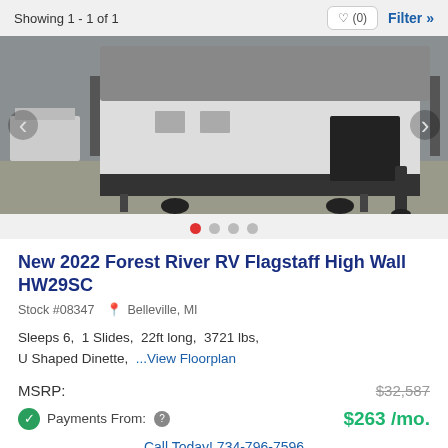Showing 1 - 1 of 1
[Figure (photo): Photo of a 2022 Forest River RV Flagstaff High Wall HW29SC trailer parked in a lot, showing the rear/side exterior with pop-up tent extensions deployed]
New 2022 Forest River RV Flagstaff High Wall HW29SC
Stock #08347  Belleville, MI
Sleeps 6,  1 Slides,  22ft long,  3721 lbs,  U Shaped Dinette,  ...View Floorplan
MSRP:  $32,587
Payments From:  $263 /mo.
Call Today! 734-796-7596